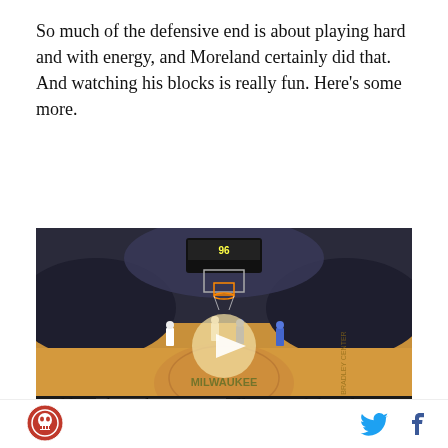So much of the defensive end is about playing hard and with energy, and Moreland certainly did that. And watching his blocks is really fun. Here’s some more.
[Figure (screenshot): NBA basketball game video screenshot showing Milwaukee Bucks vs Detroit Pistons at the Bradley Center. Scorebar shows PISTONS 73, BUCKS 77, 4th Qtr, 9:56, 14. Bench Points This Quarter: DETROIT 9, MILWAUKEE 0. Play button overlay visible.]
And his rebounding was excellent. He didn’t play